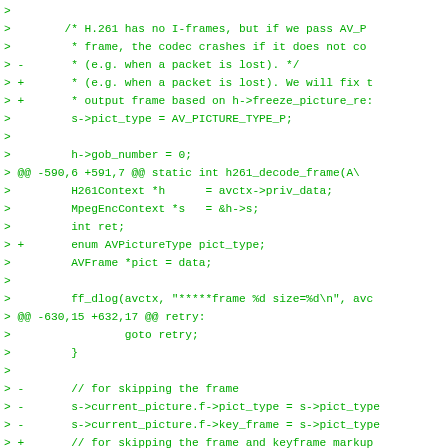Code diff showing changes to h261 decoder frame handling including freeze_picture_release, pict_type, and skip_frame logic